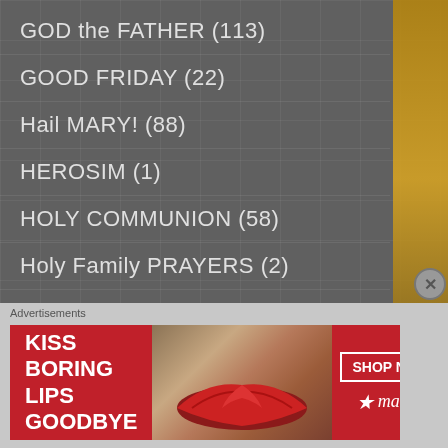GOD the FATHER (113)
GOOD FRIDAY (22)
Hail MARY! (88)
HEROSIM (1)
HOLY COMMUNION (58)
Holy Family PRAYERS (2)
Holy Name PRAYERS (20)
HOLY ORDERS (6)
HOLY SATURDAY (18)
HOLY SPIRIT (22)
HOLY WEEK (119)
Advertisements
[Figure (other): Macy's advertisement banner: red background with text 'KISS BORING LIPS GOODBYE', photo of woman with red lipstick, SHOP NOW button, and Macy's star logo]